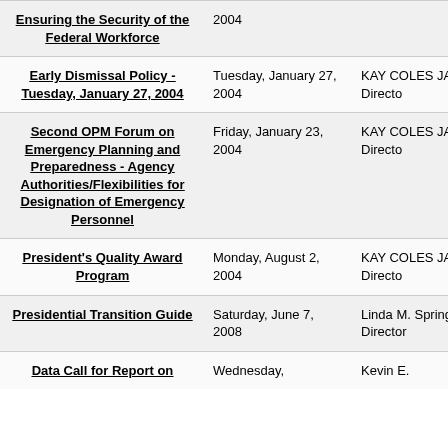| Title | Date | Author |
| --- | --- | --- |
| Ensuring the Security of the Federal Workforce | 2004 |  |
| Early Dismissal Policy - Tuesday, January 27, 2004 | Tuesday, January 27, 2004 | KAY COLES JAMES, Director |
| Second OPM Forum on Emergency Planning and Preparedness - Agency Authorities/Flexibilities for Designation of Emergency Personnel | Friday, January 23, 2004 | KAY COLES JAMES, Director |
| President's Quality Award Program | Monday, August 2, 2004 | KAY COLES JAMES, Director |
| Presidential Transition Guide | Saturday, June 7, 2008 | Linda M. Spring, Director |
| Data Call for Report on | Wednesday, | Kevin E. |